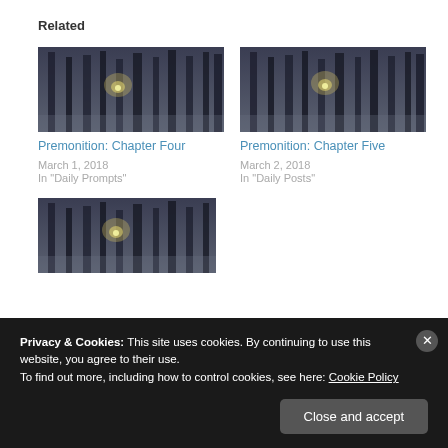Related
[Figure (photo): Dark misty forest with a faint glowing light in the distance, associated with Premonition Chapter Four]
Premonition: Chapter Four
March 1, 2018
In "Daily Prompts"
[Figure (photo): Dark misty forest with a faint glowing light in the distance, associated with Premonition Chapter Five]
Premonition: Chapter Five
March 2, 2018
In "Daily Posts"
[Figure (photo): Dark misty forest with a faint glowing light in the distance, partial image cut off at bottom]
Privacy & Cookies: This site uses cookies. By continuing to use this website, you agree to their use.
To find out more, including how to control cookies, see here: Cookie Policy